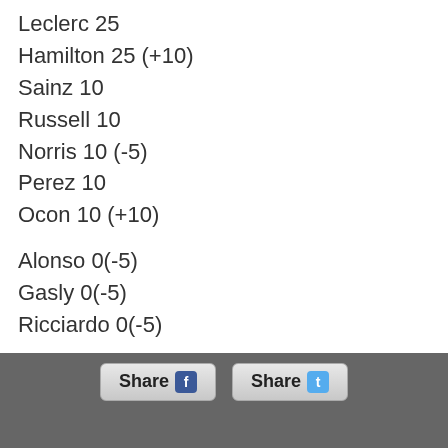Leclerc 25
Hamilton 25 (+10)
Sainz 10
Russell 10
Norris 10 (-5)
Perez 10
Ocon 10 (+10)
Alonso 0(-5)
Gasly 0(-5)
Ricciardo 0(-5)